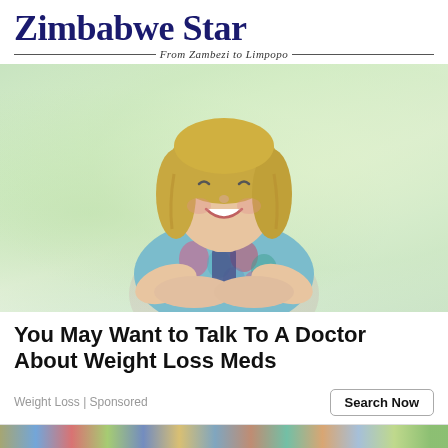Zimbabwe Star — From Zambezi to Limpopo
[Figure (photo): A smiling middle-aged overweight woman with blonde hair, wearing a floral patterned top, arms crossed, against a soft blurred background]
You May Want to Talk To A Doctor About Weight Loss Meds
Weight Loss | Sponsored
Search Now
[Figure (photo): Partial bottom strip showing colorful images, partially visible at bottom of page]